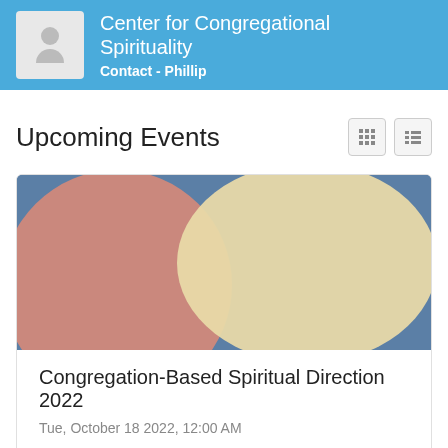Center for Congregational Spirituality
Contact - Phillip
Upcoming Events
[Figure (illustration): Abstract decorative image with muted blue background, a large pink circle on the left side, and a large cream/beige oval in the center-right area. Used as event card banner image.]
Congregation-Based Spiritual Direction 2022
Tue, October 18 2022, 12:00 AM